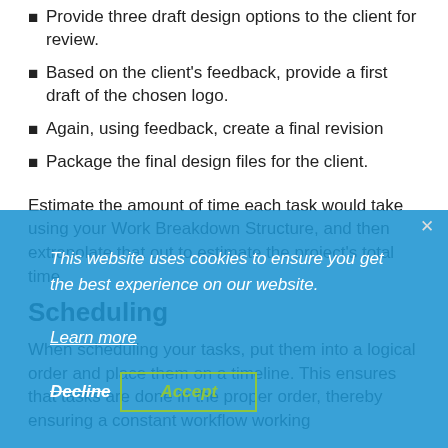Provide three draft design options to the client for review.
Based on the client's feedback, provide a first draft of the chosen logo.
Again, using feedback, create a final revision
Package the final design files for the client.
Estimate the amount of time each task would take using your Work Breakdown Structure, and then extrapolate that out to estimate the project's total time.
Scheduling
When scheduling your tasks, put them into a logical order and place them on a timeline. This ensures that tasks are done in the proper order, thereby ensuring a constant workflow working